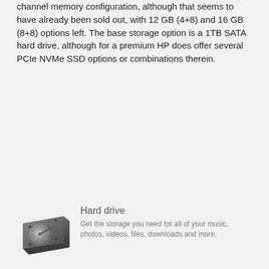...HP initially offered this unit with a 4+4 GB DDR4-2133 dual-channel memory configuration, although that seems to have already been sold out, with 12 GB (4+8) and 16 GB (8+8) options left. The base storage option is a 1TB SATA hard drive, although for a premium HP does offer several PCIe NVMe SSD options or combinations therein.
[Figure (illustration): Hard drive icon — a small photo-realistic image of a 3.5-inch hard disk drive]
Hard drive
Get the storage you need for all of your music, photos, videos, files, downloads and more.